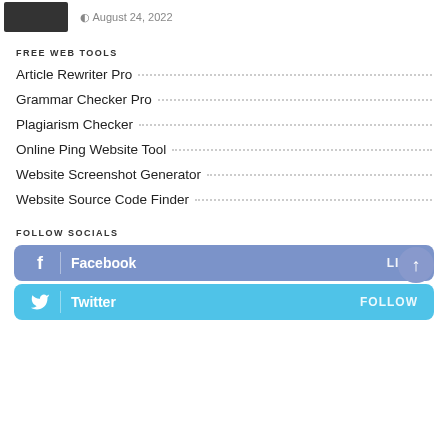August 24, 2022
FREE WEB TOOLS
Article Rewriter Pro
Grammar Checker Pro
Plagiarism Checker
Online Ping Website Tool
Website Screenshot Generator
Website Source Code Finder
FOLLOW SOCIALS
Facebook LIKE
Twitter FOLLOW